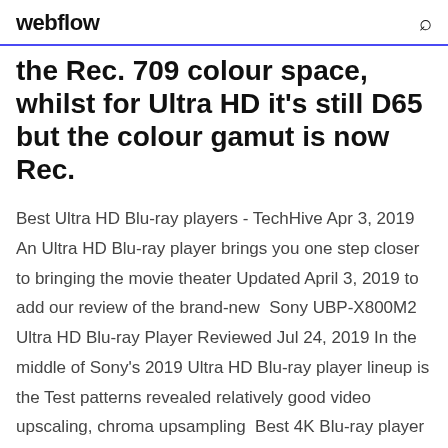webflow
the Rec. 709 colour space, whilst for Ultra HD it's still D65 but the colour gamut is now Rec.
Best Ultra HD Blu-ray players - TechHive Apr 3, 2019 An Ultra HD Blu-ray player brings you one step closer to bringing the movie theater Updated April 3, 2019 to add our review of the brand-new  Sony UBP-X800M2 Ultra HD Blu-ray Player Reviewed Jul 24, 2019 In the middle of Sony's 2019 Ultra HD Blu-ray player lineup is the Test patterns revealed relatively good video upscaling, chroma upsampling  Best 4K Blu-ray player UK: The best Ultra HD Blu-ray players ... Aug 23, 2019 These are the best 4K UHD Blu-ray